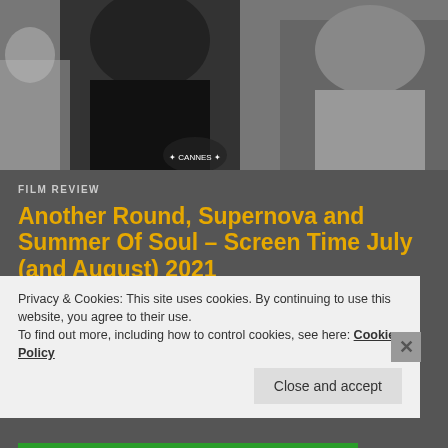[Figure (photo): Photo of people at what appears to be the Cannes Film Festival, with a Cannes logo visible on clothing. Dark background with people visible.]
FILM REVIEW
Another Round, Supernova and Summer Of Soul – Screen Time July (and August) 2021
Things must be going back to normal if there were only three cinema outings for me in July (and none in August, incidentally). I pray this resumption of regular routines isn't a
Privacy & Cookies: This site uses cookies. By continuing to use this website, you agree to their use.
To find out more, including how to control cookies, see here: Cookie Policy
Close and accept